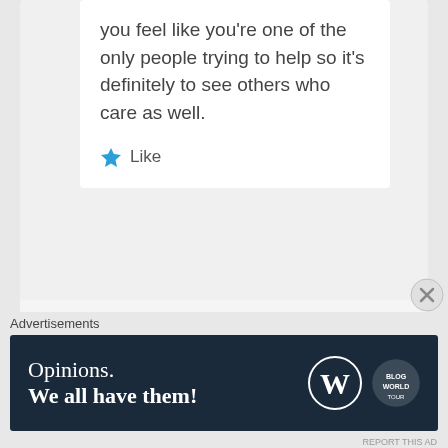you feel like you're one of the only people trying to help so it's definitely to see others who care as well.
Like
[Figure (illustration): Avatar placeholder showing a generic person silhouette icon in a gray square box with a comment speech bubble tail on the left]
Advertisements
[Figure (screenshot): Ad banner with dark navy background showing 'Opinions. We all have them!' text with WordPress logo and another circular logo on the right]